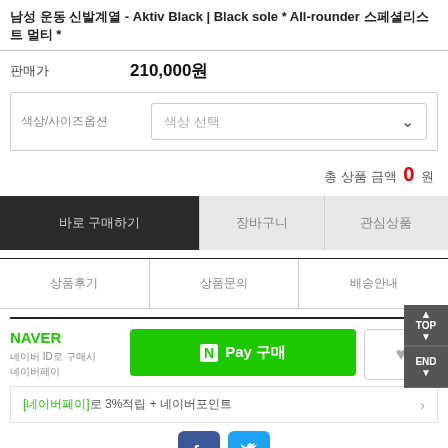남성 운동 신발계열 - Aktiv Black | Black sole * All-rounder 스페셜리스트 멀티 *
판매가 210,000원
색상/사이즈옵션 색상 선택
총 상품 금액 0 원
바로 구매하기
장바구니
관심상품
상품후기
상품문의
배송안내
NAVER 네이버 ID로 구매시 네이버페이
N Pay 구매
[네이버페이]로 3%적립 + 네이버포인트
[Figure (logo): Facebook and Twitter social share icons]